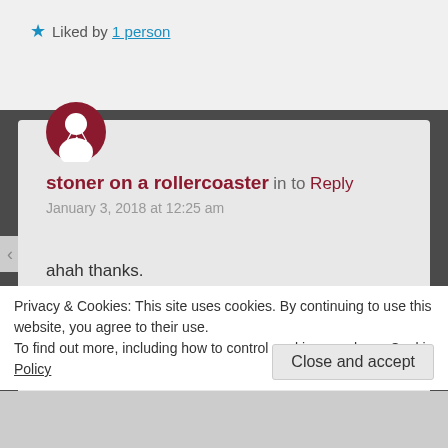Liked by 1 person
stoner on a rollercoaster
January 3, 2018 at 12:25 am
ahah thanks.
I am huge Khalil Gibran fan. my blog is full of Rumi, Khalil Gibran.. in fact few days back I did a whole post on Khalil Gibran from another blog as a guest author. couldn't reblog it on my blog due to some technical issue.

ahaha I have never tried alcohol or drugs. I think I
Privacy & Cookies: This site uses cookies. By continuing to use this website, you agree to their use.
To find out more, including how to control cookies, see here: Cookie Policy